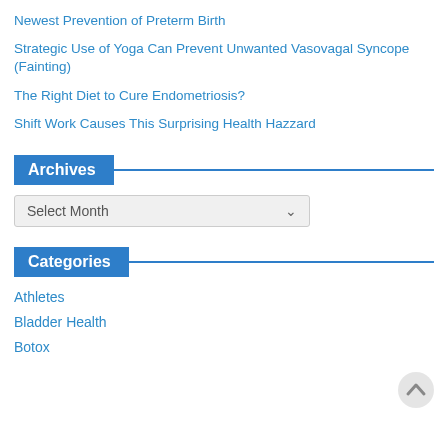Newest Prevention of Preterm Birth
Strategic Use of Yoga Can Prevent Unwanted Vasovagal Syncope (Fainting)
The Right Diet to Cure Endometriosis?
Shift Work Causes This Surprising Health Hazzard
Archives
Select Month
Categories
Athletes
Bladder Health
Botox